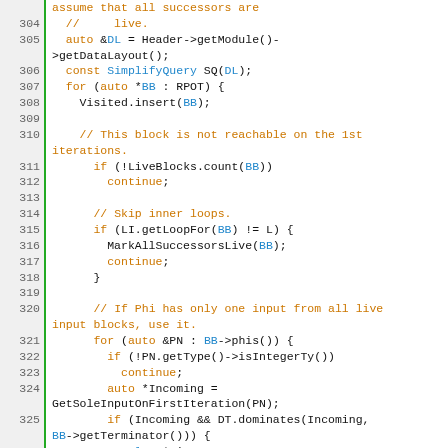[Figure (screenshot): Source code listing showing C++ code lines 304-331, with syntax highlighting. Line numbers in grey on left, green vertical bar separator, code on right with orange keywords, blue identifiers/functions, orange comments, and black default text.]